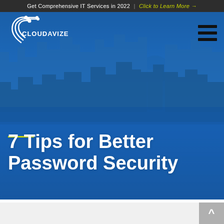Get Comprehensive IT Services in 2022 | Click to Learn More →
[Figure (screenshot): Cloudavize logo with circuit-style icon on blue hero background with city skyline]
7 Tips for Better Password Security